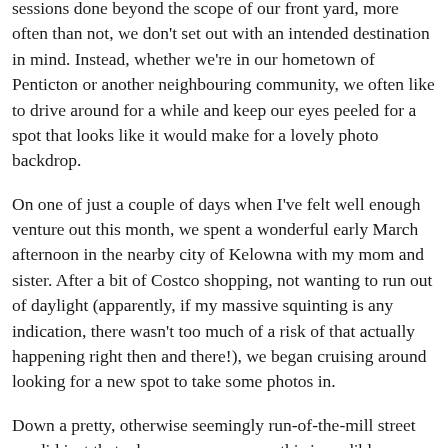sessions done beyond the scope of our front yard, more often than not, we don't set out with an intended destination in mind. Instead, whether we're in our hometown of Penticton or another neighbouring community, we often like to drive around for a while and keep our eyes peeled for a spot that looks like it would make for a lovely photo backdrop.
On one of just a couple of days when I've felt well enough venture out this month, we spent a wonderful early March afternoon in the nearby city of Kelowna with my mom and sister. After a bit of Costco shopping, not wanting to run out of daylight (apparently, if my massive squinting is any indication, there wasn't too much of a risk of that actually happening right then and there!), we began cruising around looking for a new spot to take some photos in.
Down a pretty, otherwise seemingly run-of-the-mill street we did just that when we came across this incredibly charming vintage building that's being used as a stand alone preschool and kindergarten in the midst of a small, verdant park.
I don't recall ever seeing it before that day and had no idea that it was there at all. As we both adore wood cabin-esque...